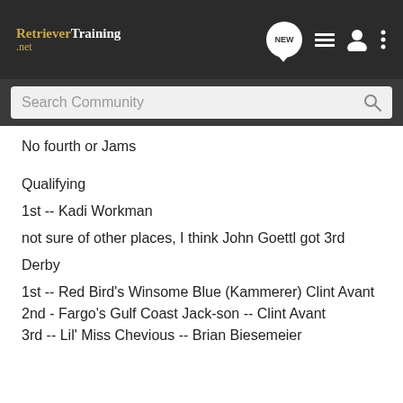RetrieverTraining.net
No fourth or Jams
Qualifying
1st -- Kadi Workman
not sure of other places, I think John Goettl got 3rd
Derby
1st -- Red Bird's Winsome Blue (Kammerer) Clint Avant
2nd - Fargo's Gulf Coast Jack-son -- Clint Avant
3rd -- Lil' Miss Chevious -- Brian Biesemeier